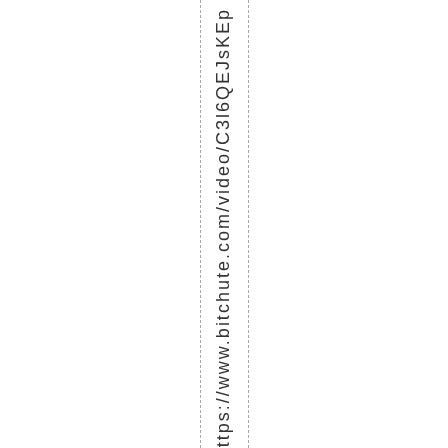I BURN https://www.bitchute.com/video/C3l6QEJsKEp